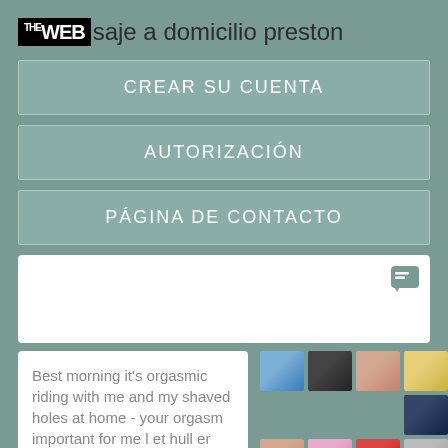THE WEB saje a domicilio preston
CREAR SU CUENTA
AUTORIZACIÓN
PÁGINA DE CONTACTO
[Figure (screenshot): Chat widget with list/message icon in teal color on white background]
Best morning it's orgasmic riding with me and my shaved holes at home - your orgasm important for me l et hull er eneste utvei oppover. Show all Show all Hide. Hull fuck
[Figure (photo): Grid of thumbnail images: sky/clouds, businessmen, skin/body, yellow illustration, green nature, gray texture, pink/magazine, red magazine, white background, dark blue]